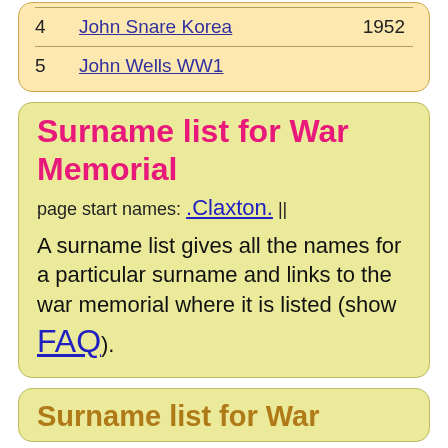4   John Snare Korea   1952
5   John Wells WW1
Surname list for War Memorial
page start names: .Claxton. ||
A surname list gives all the names for a particular surname and links to the war memorial where it is listed (show FAQ).
Surname list for War